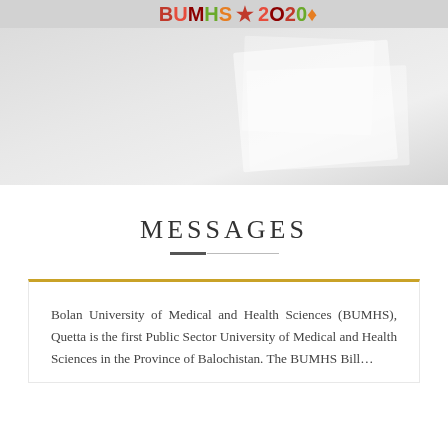[Figure (photo): Top portion of a university page showing a partial logo/image of BUMHS against a light grey background with a paper/document element visible]
MESSAGES
Bolan University of Medical and Health Sciences (BUMHS), Quetta is the first Public Sector University of Medical and Health Sciences in the Province of Balochistan. The BUMHS Bill...